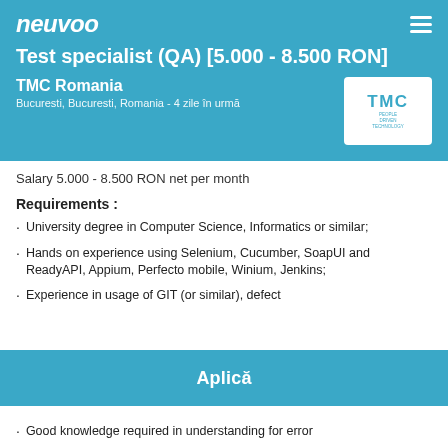neuvoo
Test specialist (QA) [5.000 - 8.500 RON]
TMC Romania
Bucuresti, Bucuresti, Romania - 4 zile în urmă
[Figure (logo): TMC logo with text PEOPLE DRIVEN TECHNOLOGY]
Salary 5.000 - 8.500 RON net per month
Requirements :
University degree in Computer Science, Informatics or similar;
Hands on experience using Selenium, Cucumber, SoapUI and ReadyAPI, Appium, Perfecto mobile, Winium, Jenkins;
Experience in usage of GIT (or similar), defect
Aplică
Good knowledge required in understanding for error